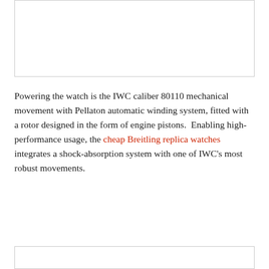[Figure (other): Image placeholder box at top of page]
Powering the watch is the IWC caliber 80110 mechanical movement with Pellaton automatic winding system, fitted with a rotor designed in the form of engine pistons.  Enabling high-performance usage, the cheap Breitling replica watches integrates a shock-absorption system with one of IWC's most robust movements.
[Figure (other): Image placeholder box at bottom of page]